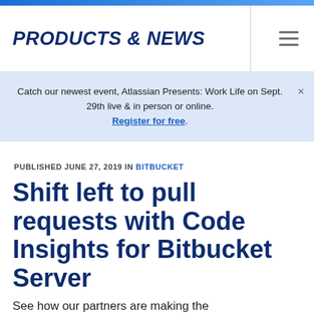PRODUCTS & NEWS
Catch our newest event, Atlassian Presents: Work Life on Sept. 29th live & in person or online. Register for free.
PUBLISHED JUNE 27, 2019 IN BITBUCKET
Shift left to pull requests with Code Insights for Bitbucket Server
See how our partners are making the